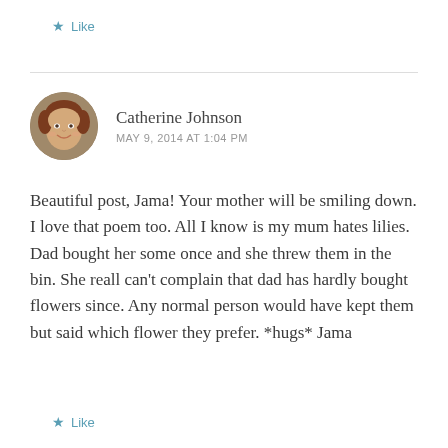★ Like
Catherine Johnson
MAY 9, 2014 AT 1:04 PM
[Figure (photo): Circular avatar photo of Catherine Johnson, a woman with short reddish-brown hair, smiling.]
Beautiful post, Jama! Your mother will be smiling down. I love that poem too. All I know is my mum hates lilies. Dad bought her some once and she threw them in the bin. She reall can't complain that dad has hardly bought flowers since. Any normal person would have kept them but said which flower they prefer. *hugs* Jama
★ Like